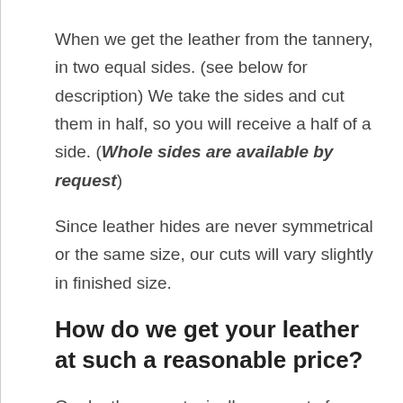When we get the leather from the tannery, in two equal sides. (see below for description) We take the sides and cut them in half, so you will receive a half of a side. (Whole sides are available by request)
Since leather hides are never symmetrical or the same size, our cuts will vary slightly in finished size.
How do we get your leather at such a reasonable price?
Our leathers are typically remnants from large corporate orders. We will gladly take what the